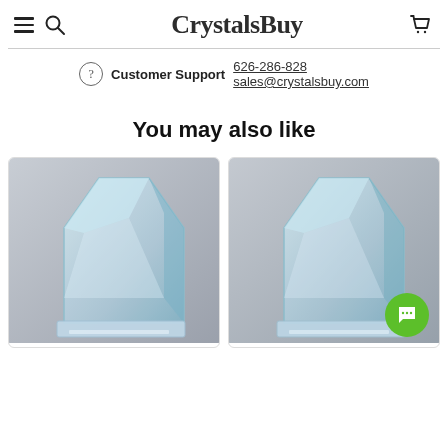CrystalsBuy
Customer Support 626-286-828 sales@crystalsbuy.com
You may also like
[Figure (photo): Two crystal pentagon-shaped award trophies on glass bases, side by side in product cards]
[Figure (other): Green chat bubble button overlay in bottom-right of second product card]